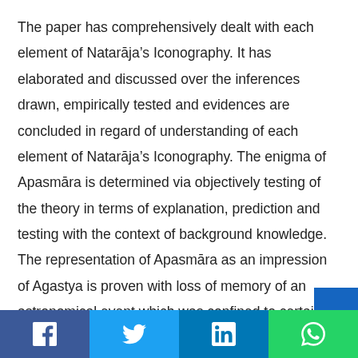The paper has comprehensively dealt with each element of Natarāja's Iconography. It has elaborated and discussed over the inferences drawn, empirically tested and evidences are concluded in regard of understanding of each element of Natarāja's Iconography. The enigma of Apasmāra is determined via objectively testing of the theory in terms of explanation, prediction and testing with the context of background knowledge. The representation of Apasmāra as an impression of Agastya is proven with loss of memory of an astronomical event which was confined to certain latitude.